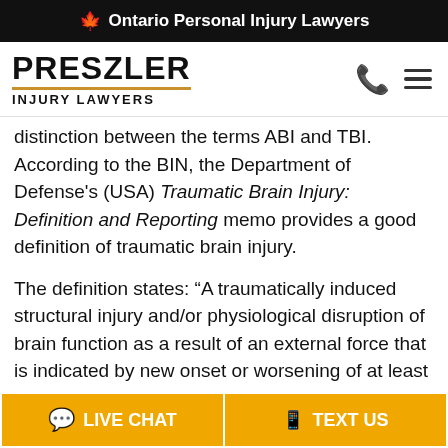🍁 Ontario Personal Injury Lawyers
[Figure (logo): Preszler Injury Lawyers logo with phone and menu icons]
distinction between the terms ABI and TBI. According to the BIN, the Department of Defense's (USA) Traumatic Brain Injury: Definition and Reporting memo provides a good definition of traumatic brain injury.
The definition states: “A traumatically induced structural injury and/or physiological disruption of brain function as a result of an external force that is indicated by new onset or worsening of at least one of the following
LIVE CHAT   TEXT US